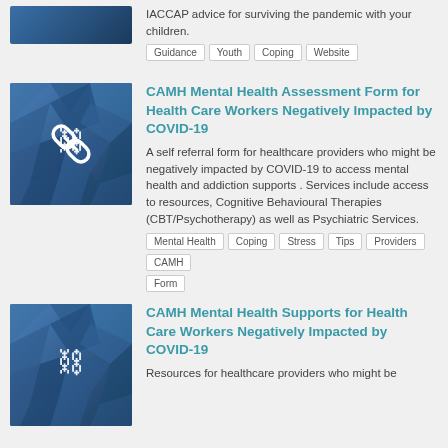IACCAP advice for surviving the pandemic with your children.
Guidance  Youth  Coping  Website
CAMH Mental Health Assessment Form for Health Care Workers Negatively Impacted by COVID-19
A self referral form for healthcare providers who might be negatively impacted by COVID-19 to access mental health and addiction supports . Services include access to resources, Cognitive Behavioural Therapies (CBT/Psychotherapy) as well as Psychiatric Services.
Mental Health  Coping  Stress  Tips  Providers  CAMH  Form
CAMH Mental Health Supports for Health Care Workers Negatively Impacted by COVID-19
Resources for healthcare providers who might be